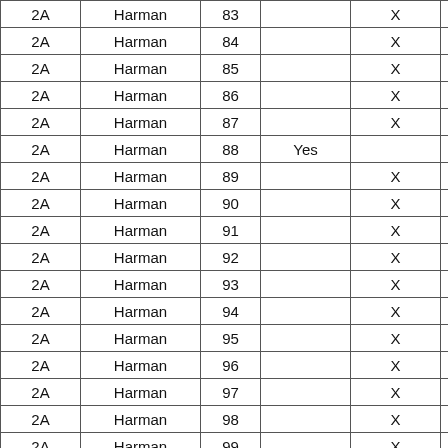| 2A | Harman | 83 |  | X |  |
| 2A | Harman | 84 |  | X |  |
| 2A | Harman | 85 |  | X |  |
| 2A | Harman | 86 |  | X |  |
| 2A | Harman | 87 |  | X |  |
| 2A | Harman | 88 | Yes |  |  |
| 2A | Harman | 89 |  | X |  |
| 2A | Harman | 90 |  | X |  |
| 2A | Harman | 91 |  | X |  |
| 2A | Harman | 92 |  | X |  |
| 2A | Harman | 93 |  | X |  |
| 2A | Harman | 94 |  | X |  |
| 2A | Harman | 95 |  | X |  |
| 2A | Harman | 96 |  | X |  |
| 2A | Harman | 97 |  | X |  |
| 2A | Harman | 98 |  | X |  |
| 2A | Harman | 99 |  | X |  |